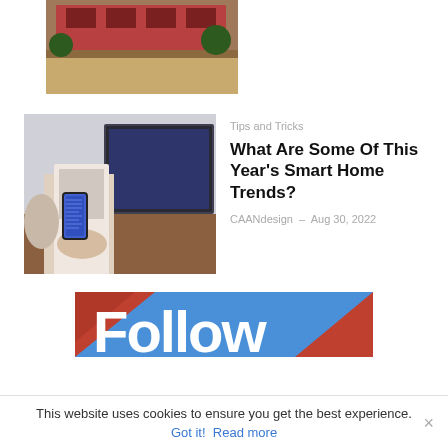[Figure (photo): Partial top image of a building with reddish brick facade and grass/trees]
[Figure (photo): Person holding a smartphone in front of a large TV screen, smart home concept]
Tips and Tricks
What Are Some Of This Year's Smart Home Trends?
CAANdesign - Aug 30, 2022
[Figure (photo): Follow banner with large white text 'Follow' on blue background with diagonal stripe]
This website uses cookies to ensure you get the best experience.
Got it!  Read more